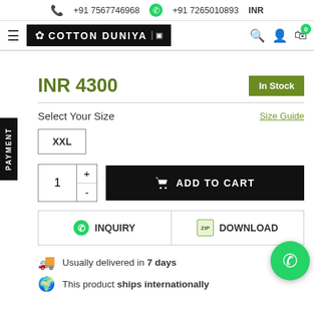📞 +91 7567746968  💬 +91 7265010893  INR
[Figure (logo): Cotton Duniya logo with lotus icon, white text on black background]
INR 4300
In Stock
Select Your Size
Size Guide
XXL
1
ADD TO CART
INQUIRY
DOWNLOAD
Usually delivered in 7 days
This product ships internationally
PAYMENT